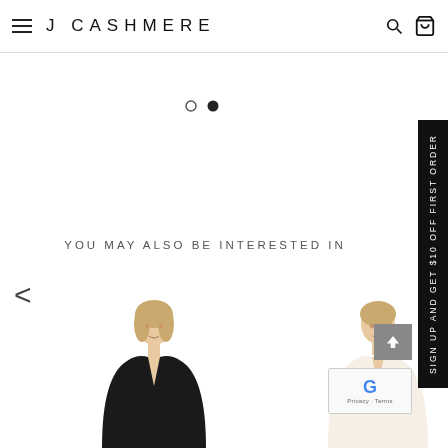J CASHMERE
[Figure (illustration): Two pagination dots, one empty circle and one filled black circle, indicating a carousel/slider position.]
YOU MAY ALSO BE INTERESTED IN
[Figure (photo): Left navigation arrow (<) for product carousel]
[Figure (photo): Photo of a blonde woman wearing a black v-neck long-sleeve top, cropped at torso level.]
[Figure (photo): Photo of a blonde woman wearing a cream/ivory v-neck long-sleeve top, cropped at torso level.]
SIGN UP AND GET $10 OFF FIRST ORDER